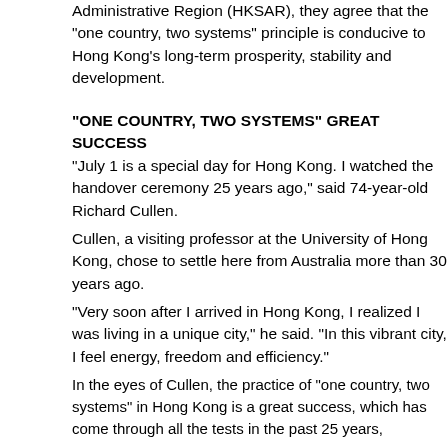Administrative Region (HKSAR), they agree that the "one country, two systems" principle is conducive to Hong Kong's long-term prosperity, stability and development.
"ONE COUNTRY, TWO SYSTEMS" GREAT SUCCESS
"July 1 is a special day for Hong Kong. I watched the handover ceremony 25 years ago," said 74-year-old Richard Cullen.
Cullen, a visiting professor at the University of Hong Kong, chose to settle here from Australia more than 30 years ago.
"Very soon after I arrived in Hong Kong, I realized I was living in a unique city," he said. "In this vibrant city, I feel energy, freedom and efficiency."
In the eyes of Cullen, the practice of "one country, two systems" in Hong Kong is a great success, which has come through all the tests in the past 25 years,
As a law professor, he pointed out that "the national security law in Hong Kong has done a good job." Since the implementation of the national security law in Hong Kong in June 2020, social stability has been restored in this city, he added.
He is disgusted with the attempts of some external forces to suppress